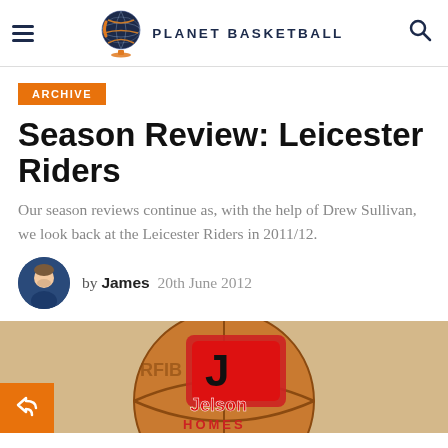PLANET BASKETBALL
ARCHIVE
Season Review: Leicester Riders
Our season reviews continue as, with the help of Drew Sullivan, we look back at the Leicester Riders in 2011/12.
by James  20th June 2012
[Figure (photo): Leicester Riders basketball with Jelson Homes logo]